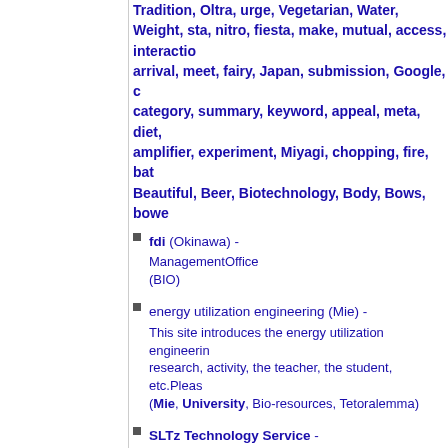Tradition, Oltra, urge, Vegetarian, Water, Weight, sta, nitro, fiesta, make, mutual, access, interaction, arrival, meet, fairy, Japan, submission, Google, category, summary, keyword, appeal, meta, diet, amplifier, experiment, Miyagi, chopping, fire, bath, Beautiful, Beer, Biotechnology, Body, Bows, bower
fdi (Okinawa) - ManagementOffice (BIO)
energy utilization engineering (Mie) - This site introduces the energy utilization engineering research, activity, the teacher, the student, etc.Please (Mie, University, Bio-resources, Tetoralemma)
SLTz Technology Service - Silicon Valley,MEMS, 300mm, Bio chip, Foundary service (biochip, mems, waveguide, soi, 300mm, 12inch, foundry)
Marine Biotechnology Expo (Tokyo) - Marine Biotechnology Expo (Marine, Biotechnology)
Doctrina (Tokyo) - Doctrina - Ultimate School of Medicine : DR. Kiyoshi (Medicine, Education, Biotechnology, Resarch, Medical, M.D.)
KiyoshiKurokawa.com (Tokyo) - Kiyoshi Kurokawa's official site. The Ultimate School (Kurokawa, Kiyoshi, Medical, Doctor, Education)